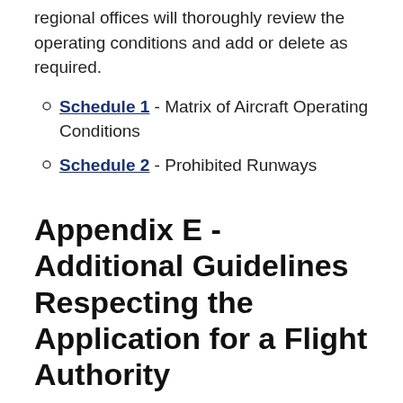regional offices will thoroughly review the operating conditions and add or delete as required.
Schedule 1 - Matrix of Aircraft Operating Conditions
Schedule 2 - Prohibited Runways
Appendix E - Additional Guidelines Respecting the Application for a Flight Authority
Content last revised: 1996/10/10